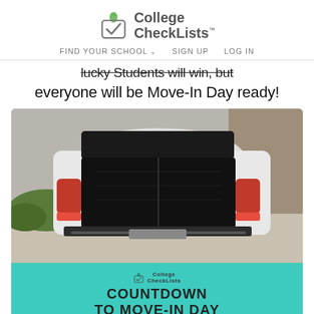[Figure (logo): College CheckLists logo with checkmark leaf icon and text 'College CheckLists™']
FIND YOUR SCHOOL ∨   SIGN UP   LOG IN
——lucky Students will win, but everyone will be Move-In Day ready!
[Figure (photo): White SUV/wagon with open trunk hatch viewed from behind, parked on a driveway. Below the photo is a teal background with College CheckLists logo and text 'Countdown to Move-In Day Sweepstakes']